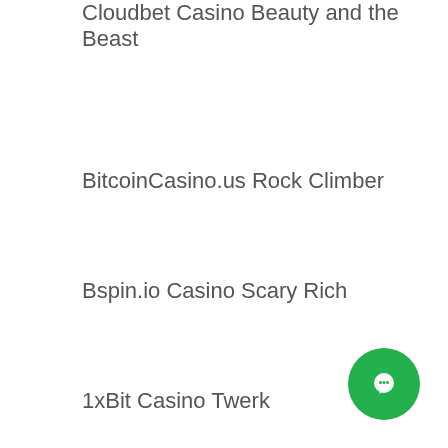Cloudbet Casino Beauty and the Beast
BitcoinCasino.us Rock Climber
Bspin.io Casino Scary Rich
1xBit Casino Twerk
OneHash Phoenix
OneHash Bonanza
[Figure (other): Green circular chat/messaging button in bottom right corner]